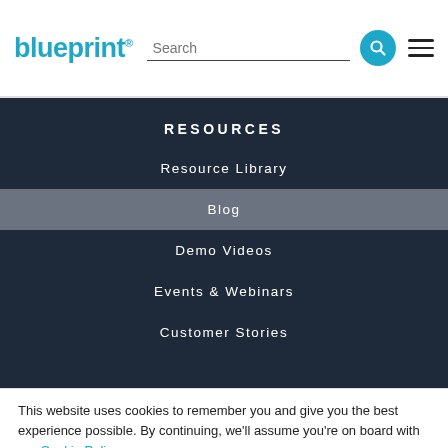blueprint | Search
RESOURCES
Resource Library
Blog
Demo Videos
Events & Webinars
Customer Stories
This website uses cookies to remember you and give you the best experience possible. By continuing, we'll assume you're on board with our Cookie Policy.
Accept